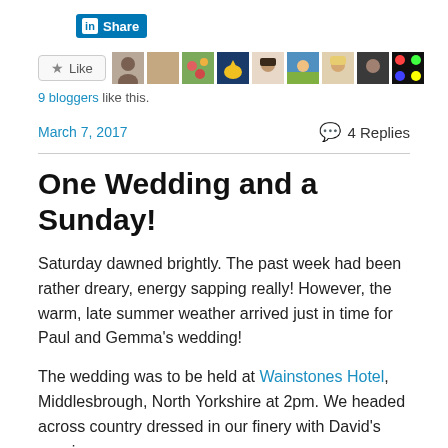[Figure (screenshot): LinkedIn Share button in blue]
[Figure (screenshot): Like button with star icon followed by a strip of 9 blogger avatar thumbnails]
9 bloggers like this.
March 7, 2017   💬 4 Replies
One Wedding and a Sunday!
Saturday dawned brightly. The past week had been rather dreary, energy sapping really! However, the warm, late summer weather arrived just in time for Paul and Gemma's wedding!
The wedding was to be held at Wainstones Hotel, Middlesbrough, North Yorkshire at 2pm. We headed across country dressed in our finery with David's cousin